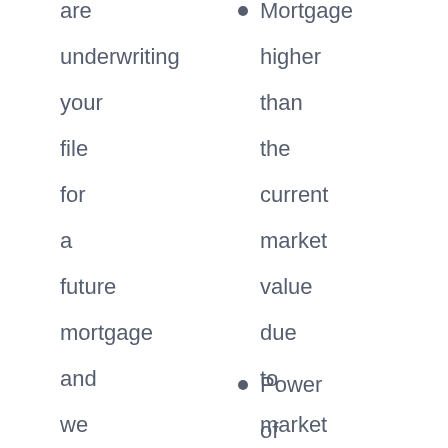are underwriting your file for a future mortgage and we are using a
Mortgage higher than the current market value due to market correction
Power of